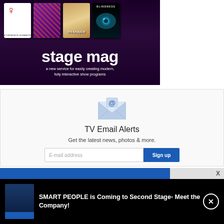[Figure (illustration): Stage Mag advertisement banner showing show program cards (Titanique, Blindness, and others) with text 'stage mag' and 'a new service for easily creating modern, fully interactive show programs' on a dark purple/black background]
TV Email Alerts
Get the latest news, photos & more.
E-mail address
Sign up
SMART PEOPLE is Coming to Second Stage- Meet the Company!